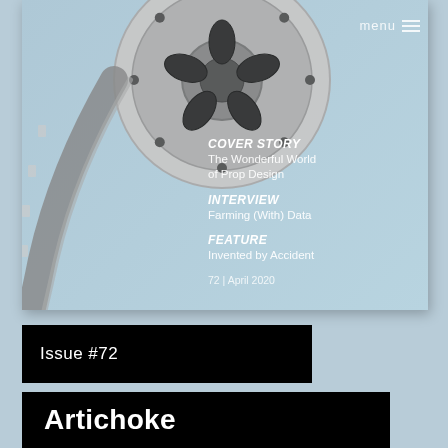[Figure (illustration): Magazine cover showing a film reel with film strip unwinding on a light blue background, with menu icon top right, and text overlays for Cover Story, Interview, Feature sections]
COVER STORY
The Wonderful World of Prop Design
INTERVIEW
Farming (With) Data
FEATURE
Invented by Accident
72 | April 2020
Issue #72
Artichoke